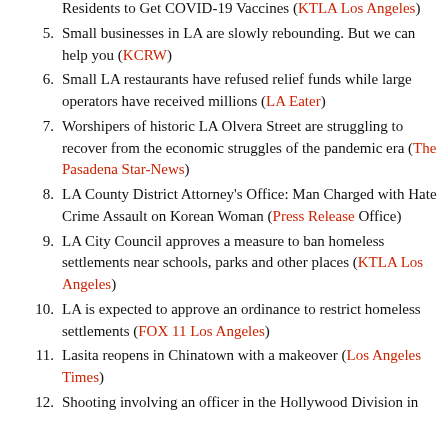Residents to Get COVID-19 Vaccines (KTLA Los Angeles)
5. Small businesses in LA are slowly rebounding. But we can help you (KCRW)
6. Small LA restaurants have refused relief funds while large operators have received millions (LA Eater)
7. Worshipers of historic LA Olvera Street are struggling to recover from the economic struggles of the pandemic era (The Pasadena Star-News)
8. LA County District Attorney's Office: Man Charged with Hate Crime Assault on Korean Woman (Press Release Office)
9. LA City Council approves a measure to ban homeless settlements near schools, parks and other places (KTLA Los Angeles)
10. LA is expected to approve an ordinance to restrict homeless settlements (FOX 11 Los Angeles)
11. Lasita reopens in Chinatown with a makeover (Los Angeles Times)
12. Shooting involving an officer in the Hollywood Division in